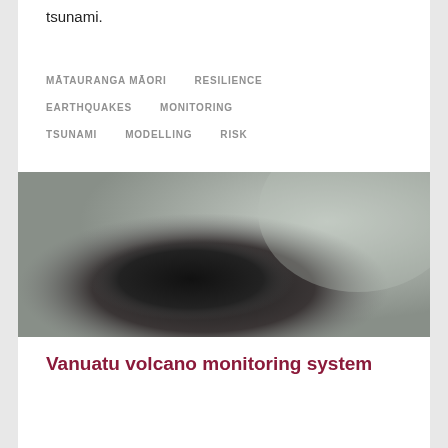tsunami.
MĀTAURANGA MĀORI
RESILIENCE
EARTHQUAKES
MONITORING
TSUNAMI
MODELLING
RISK
[Figure (photo): A dark, blurry image showing a silhouette figure against a pale grey gradient background, likely related to volcanic or natural hazard monitoring.]
Vanuatu volcano monitoring system